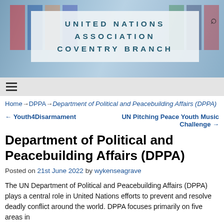[Figure (photo): Header banner with UN flags background and organization title overlay]
UNITED NATIONS ASSOCIATION COVENTRY BRANCH
Home → DPPA → Department of Political and Peacebuilding Affairs (DPPA)
← Youth4Disarmament    UN Pitching Peace Youth Music Challenge →
Department of Political and Peacebuilding Affairs (DPPA)
Posted on 21st June 2022 by wykenseagrave
The UN Department of Political and Peacebuilding Affairs (DPPA) plays a central role in United Nations efforts to prevent and resolve deadly conflict around the world. DPPA focuses primarily on five areas in